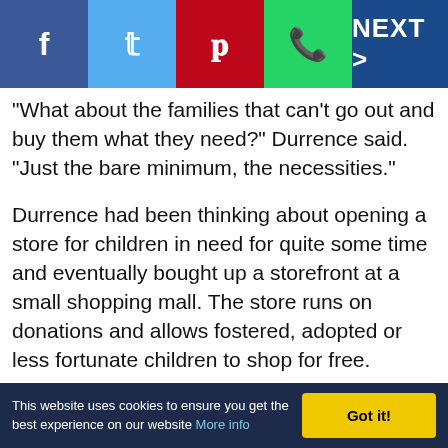[Figure (screenshot): Social media share bar with Facebook, Twitter, Pinterest, WhatsApp icons and NEXT > button on dark blue background]
"What about the families that can't go out and buy them what they need?" Durrence said. "Just the bare minimum, the necessities."
Durrence had been thinking about opening a store for children in need for quite some time and eventually bought up a storefront at a small shopping mall. The store runs on donations and allows fostered, adopted or less fortunate children to shop for free.
Shoppers can make an appointment and if the store has clothes their size, they can get up to seven free sets of clothes and shoes every quarter. They can
This website uses cookies to ensure you get the best experience on our website More info